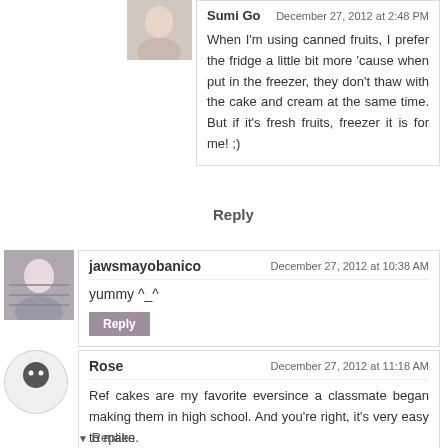Sumi Go
December 27, 2012 at 2:48 PM
When I'm using canned fruits, I prefer the fridge a little bit more 'cause when put in the freezer, they don't thaw with the cake and cream at the same time. But if it's fresh fruits, freezer it is for me! ;)
Reply
jawsmayobanico
December 27, 2012 at 10:38 AM
yummy ^_^
Reply
Rose
December 27, 2012 at 11:18 AM
Ref cakes are my favorite eversince a classmate began making them in high school. And you're right, it's very easy to make.
Reply
Replies